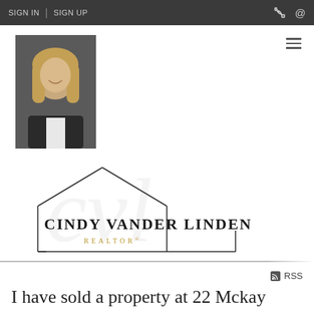SIGN IN | SIGN UP
[Figure (photo): Professional headshot of a woman with blonde hair wearing a dark blazer, smiling]
[Figure (logo): Cindy Vander Linden Realtor logo with house outline and watermark script]
RSS
I have sold a property at 22 Mckay